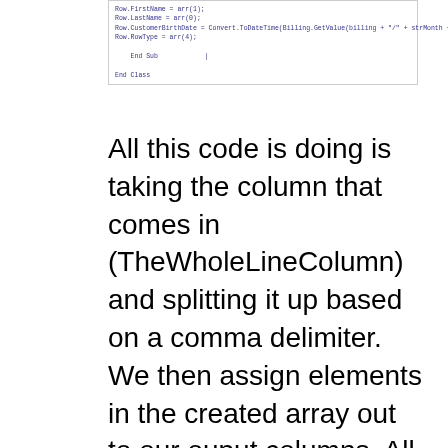[Figure (screenshot): Code snippet showing VB.NET code with Row.FirstName, Row.LastName, Row.CustomerBirthDate, Row.RowType assignments, End Sub and End Class lines in a code editor window]
All this code is doing is taking the column that comes in (TheWholeLineColumn) and splitting it up based on a comma delimiter. We then assign elements in the created array out to our ouput columns. All that is left now is to hook up our output from the script transform to a destination and for ease of use we have simply pointed the output to a Raw File Destination Adapter. We have added a dataviewer